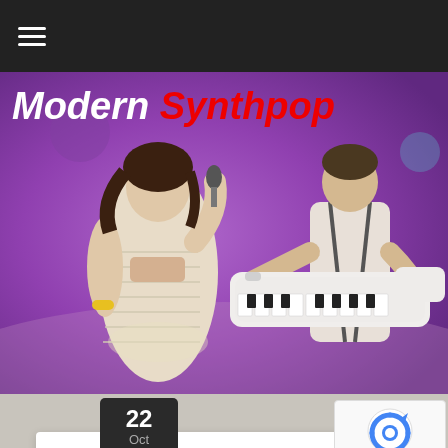≡ (navigation menu)
[Figure (photo): Concert photo showing two performers on stage with purple stage lighting. Left performer is a woman in a cream/beige dress holding a microphone. Right performer is a man in a white shirt with suspenders playing a white keytar. Text overlay reads 'Modern Synthpop' in white italic and red italic bold text.]
Modern Synthpop
22 Oct
The sexiest modern